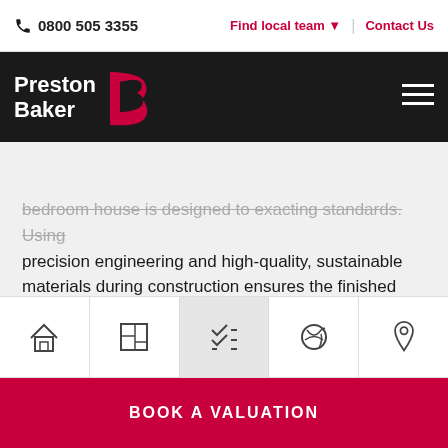0800 505 3355 | Find local team | Contact Us
[Figure (logo): Preston Baker logo with red B icon on black background]
bedroom house is designed to exacting standards. Using precision engineering and high-quality, sustainable materials during construction ensures the finished property is robust, durable and energy efficient.
Like all Legal & Generals modular homes, this two-bedroom house is designed to exacting safety and quality standards. They use precision engineering and high quality, sustainable materials during construction to ensure the
[Figure (infographic): Navigation icon bar with 5 icons: house, floor plan, checklist (active/highlighted), globe/sustainability, location pin]
BOOK A VALUATION